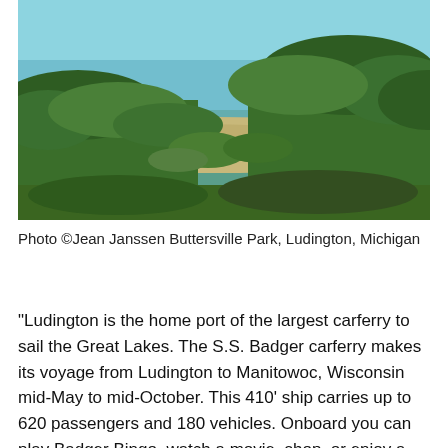[Figure (photo): Aerial or elevated view of a sandy beach along a blue-green lake, with dense green trees and shrubs in the foreground and middle ground. The beach curves along the shoreline. Photo of Buttersville Park, Ludington, Michigan.]
Photo ©Jean Janssen Buttersville Park, Ludington, Michigan
“Ludington is the home port of the largest carferry to sail the Great Lakes. The S.S. Badger carferry makes its voyage from Ludington to Manitowoc, Wisconsin mid-May to mid-October. This 410’ ship carries up to 620 passengers and 180 vehicles. Onboard you can play Badger Bingo, watch a movie, shop, or enjoy a meal in